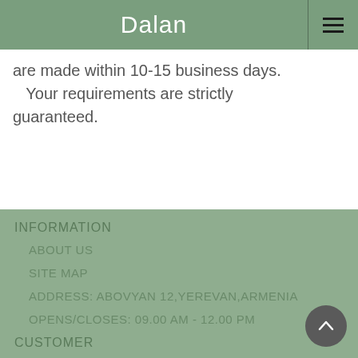Dalan
are made within 10-15 business days. Your requirements are strictly guaranteed.
INFORMATION
ABOUT US
SITE MAP
ADDRESS: ABOVYAN 12,YEREVAN,ARMENIA
OPENS/CLOSES: 09.00 AM - 12.00 PM
CUSTOMER
SIGN IN / LOG IN